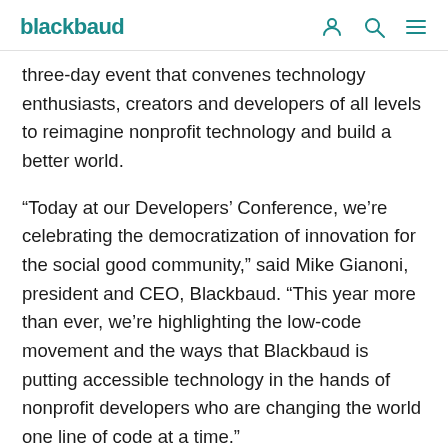blackbaud
three-day event that convenes technology enthusiasts, creators and developers of all levels to reimagine nonprofit technology and build a better world.
“Today at our Developers’ Conference, we’re celebrating the democratization of innovation for the social good community,” said Mike Gianoni, president and CEO, Blackbaud. “This year more than ever, we’re highlighting the low-code movement and the ways that Blackbaud is putting accessible technology in the hands of nonprofit developers who are changing the world one line of code at a time.”